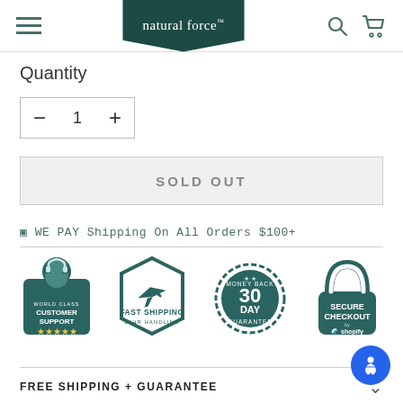natural force™ — navigation header with hamburger menu, logo, search and cart icons
Quantity
1
SOLD OUT
⊡ WE PAY Shipping On All Orders $100+
[Figure (infographic): Four trust badges: World Class Customer Support (headset icon, 5 stars), Fast Shipping 24HR Handling (airplane in hexagon), Money Back 30 Day Guarantee (circular stamp), Secure Checkout by Shopify (lock icon)]
FREE SHIPPING + GUARANTEE